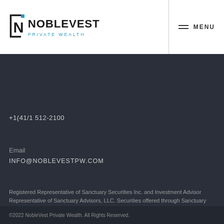[Figure (logo): NobleVest Private Wealth logo with stylized N bracket icon in black and blue, text 'NOBLEVEST' in bold black and 'PRIVATE WEALTH' in blue spaced letters]
MENU
+1(41/1 512-2100
Email
INFO@NOBLEVESTPW.COM
Registered Representative of Sanctuary Securities Inc. and Investment Advisor Representative of Sanctuary Advisors, LLC. Securities offered through Sanctuary Securities, Inc., Member FINRA, SIPC. Advisory services offered through Sanctuary Advisors, LLC., a SEC Registered Investment Adviser. NobleVest Private Wealth is a DBA of Sanctuary Securities, Inc. and Sanctuary Advisors, LLC.
©2022 NobleVest Private Wealth. All Rights Reserved.